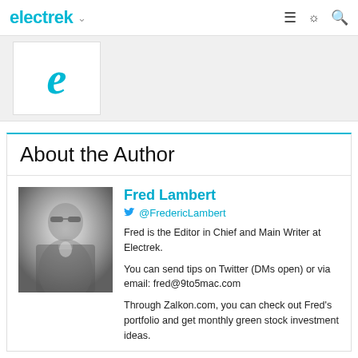electrek
[Figure (logo): Electrek logo with cyan 'e' letter on white background]
About the Author
[Figure (photo): Black and white photo of Fred Lambert looking upward, wearing a jacket]
Fred Lambert
@FredericLambert
Fred is the Editor in Chief and Main Writer at Electrek.
You can send tips on Twitter (DMs open) or via email: fred@9to5mac.com
Through Zalkon.com, you can check out Fred's portfolio and get monthly green stock investment ideas.